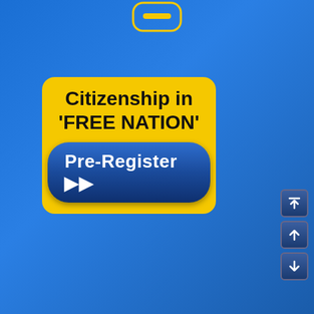[Figure (illustration): Top icon: rounded rectangle shape resembling a button or badge at top center, yellow outline on blue background]
Citizenship in 'FREE NATION'
[Figure (illustration): Dark blue rounded button labeled 'Pre-Register' with double chevron arrows pointing right]
[Figure (logo): GoGetFunding logo with wing icon on dark teal background, with a green 'DONATE NOW' button with chevron arrows, and yellow italic text 'Autonomous Nation']
[Figure (illustration): Navigation buttons on right side: three square arrow buttons (two up arrows and one down arrow)]